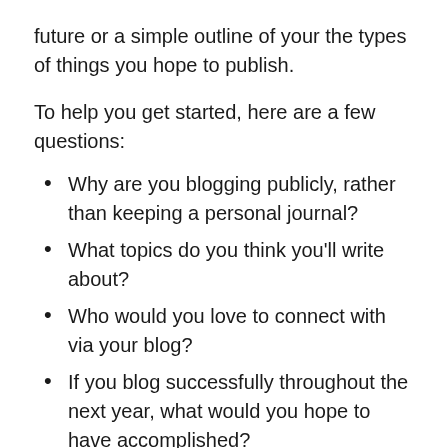future or a simple outline of your the types of things you hope to publish.
To help you get started, here are a few questions:
Why are you blogging publicly, rather than keeping a personal journal?
What topics do you think you'll write about?
Who would you love to connect with via your blog?
If you blog successfully throughout the next year, what would you hope to have accomplished?
You're not locked into any of this; one of the wonderful things about blogs is how they constantly evolve as we learn, grow, and interact with one another — but it's good to know where and why you started, and articulating your goals may just give you a few other